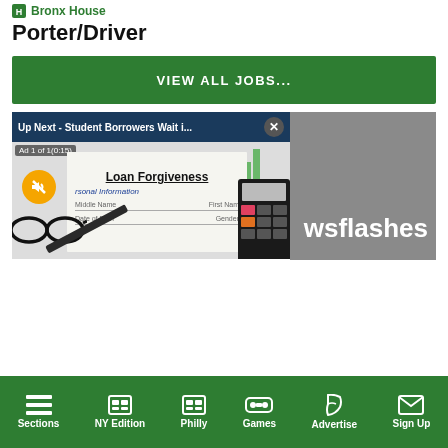Bronx House
Porter/Driver
VIEW ALL JOBS...
[Figure (screenshot): Gray content block with envelope icon, newsflashes text, and video overlay showing 'Up Next - Student Borrowers Wait i...' with a Loan Forgiveness document image, mute button, close button, glasses, pen, and calculator]
Sections | NY Edition | Philly | Games | Advertise | Sign Up